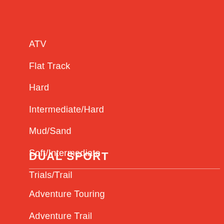ATV
Flat Track
Hard
Intermediate/Hard
Mud/Sand
Soft/Intermediate
Trials/Trail
DUAL SPORT
Adventure Touring
Adventure Trail